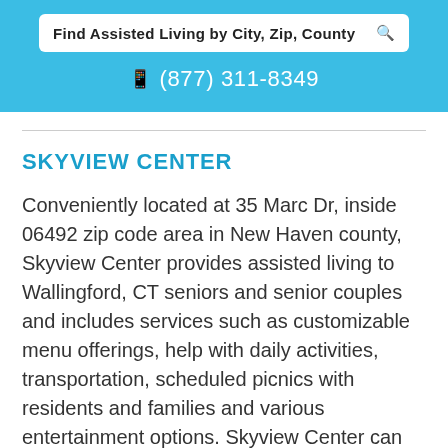Find Assisted Living by City, Zip, County
(877) 311-8349
SKYVIEW CENTER
Conveniently located at 35 Marc Dr, inside 06492 zip code area in New Haven county, Skyview Center provides assisted living to Wallingford, CT seniors and senior couples and includes services such as customizable menu offerings, help with daily activities, transportation, scheduled picnics with residents and families and various entertainment options. Skyview Center can house up to 97 older adults at a time and